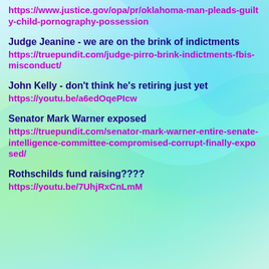https://www.justice.gov/opa/pr/oklahoma-man-pleads-guilty-child-pornography-possession
Judge Jeanine - we are on the brink of indictments
https://truepundit.com/judge-pirro-brink-indictments-fbis-misconduct/
John Kelly - don't think he's retiring just yet
https://youtu.be/a6edOqePIcw
Senator Mark Warner exposed
https://truepundit.com/senator-mark-warner-entire-senate-intelligence-committee-compromised-corrupt-finally-exposed/
Rothschilds fund raising????
https://youtu.be/7UhjRxCnLmM